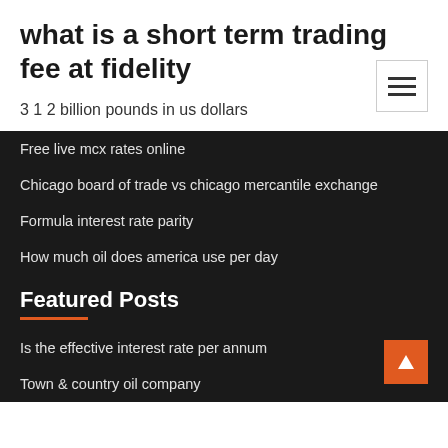what is a short term trading fee at fidelity
3 1 2 billion pounds in us dollars
Free live mcx rates online
Chicago board of trade vs chicago mercantile exchange
Formula interest rate parity
How much oil does america use per day
Featured Posts
Is the effective interest rate per annum
Town & country oil company